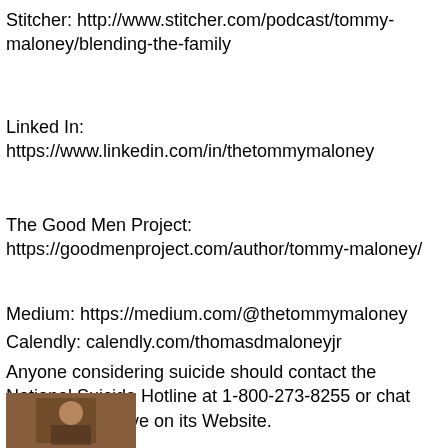Stitcher: http://www.stitcher.com/podcast/tommy-maloney/blending-the-family
Linked In: https://www.linkedin.com/in/thetommymaloney
The Good Men Project: https://goodmenproject.com/author/tommy-maloney/
Medium: https://medium.com/@thetommymaloney
Calendly: calendly.com/thomasdmaloneyjr
Anyone considering suicide should contact the National Suicide Hotline at 1-800-273-8255 or chat with someone live on its Website.
[Figure (photo): Small photo of a person, partially visible at the bottom left corner of the page]